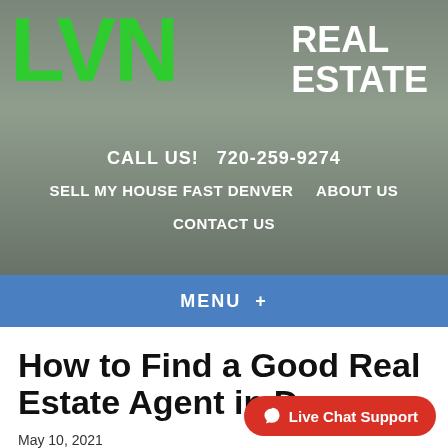[Figure (screenshot): LVN Real Estate website header with house background photo, green LVN letters logo, white REAL ESTATE text, navigation links including CALL US! 720-259-9274, SELL MY HOUSE FAST DENVER, ABOUT US, CONTACT US, and blue MENU+ bar]
How to Find a Good Real Estate Agent in Denver
May 10, 2021
By Kyle